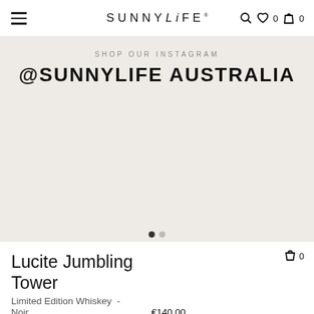SUNNYLiFE  ♡ 0  🛍 0
SHOP OUR INSTAGRAM
@SUNNYLiFE AUSTRALiA
Lucite Jumbling Tower
Limited Edition Whiskey  -
Noir  €140.00